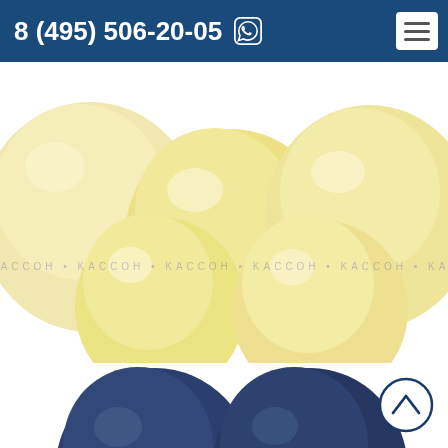8 (495) 506-20-05
[Figure (photo): Close-up of pale yellow/cream pearl balloons clustered together with a watermark reading KASSON repeated across the image]
Blue perl
[Figure (photo): Partial view of dark navy blue pearl balloons at the bottom of the page, with a circular back-to-top arrow button in the bottom right corner]